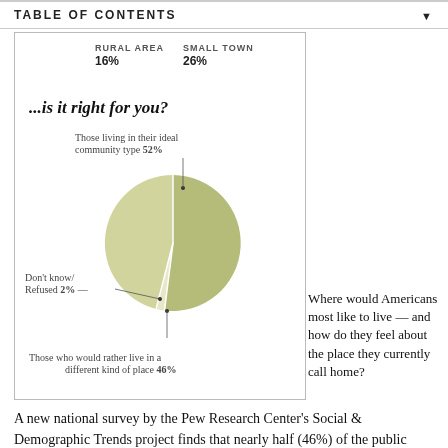TABLE OF CONTENTS
[Figure (pie-chart): ...is it right for you?]
Where would Americans most like to live — and how do they feel about the place they currently call home?
A new national survey by the Pew Research Center's Social & Demographic Trends project finds that nearly half (46%) of the public would rather live in a different type of community from